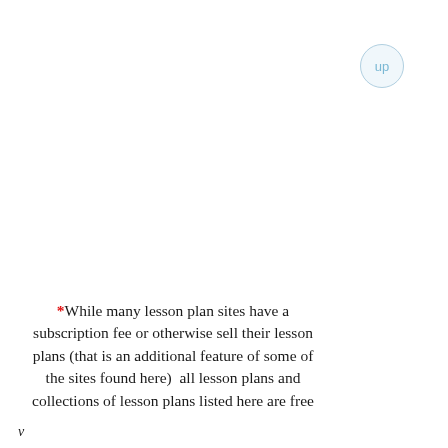[Figure (other): A circular button with light blue border and text 'up' in light blue, positioned top-right corner of the page.]
*While many lesson plan sites have a subscription fee or otherwise sell their lesson plans (that is an additional feature of some of the sites found here)  all lesson plans and collections of lesson plans listed here are free
v